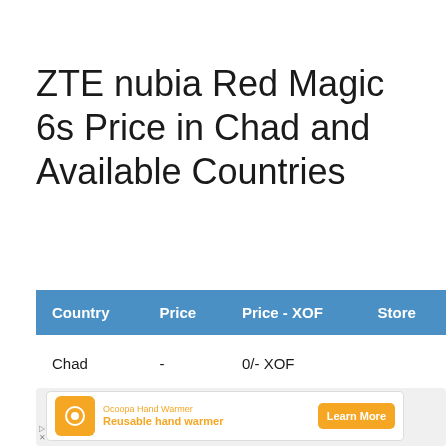ZTE nubia Red Magic 6s Price in Chad and Available Countries
| Country | Price | Price - XOF | Store |
| --- | --- | --- | --- |
| Chad | - | 0/- XOF |  |
[Figure (other): Advertisement banner for Ocoopa Hand Warmer showing reusable hand warmer product with orange logo and Learn More button]